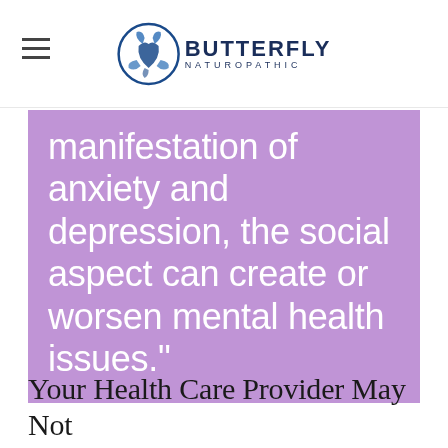Butterfly Naturopathic
manifestation of anxiety and depression, the social aspect can create or worsen mental health issues."
Your Health Care Provider May Not